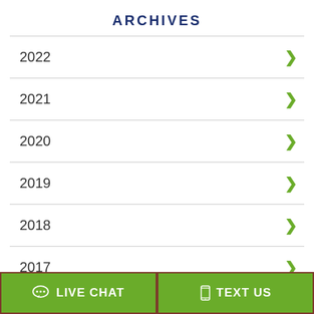ARCHIVES
2022
2021
2020
2019
2018
2017
LIVE CHAT
TEXT US